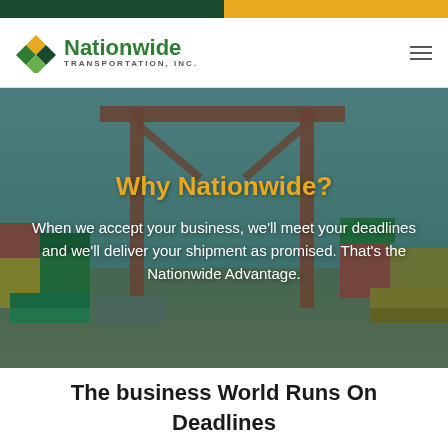[Figure (logo): Nationwide Transportation Inc. logo with green diamond N icon and company name]
[Figure (photo): Port/shipping yard with large red gantry crane and stacked colorful shipping containers, overlaid with promotional text]
Why Nationwide?
When we accept your business, we'll meet your deadlines and we'll deliver your shipment as promised. That's the Nationwide Advantage.
The business World Runs On Deadlines